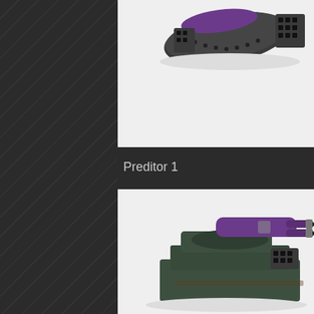[Figure (photo): Close-up photo of a painted Warhammer 40k miniature vehicle part (top/turret section), metallic dark grey with purple accents, on white background]
Preditor 1
[Figure (photo): Close-up photo of a painted Warhammer 40k Predator tank turret with twin-linked autocannon, purple and dark grey/green paint scheme, on white background]